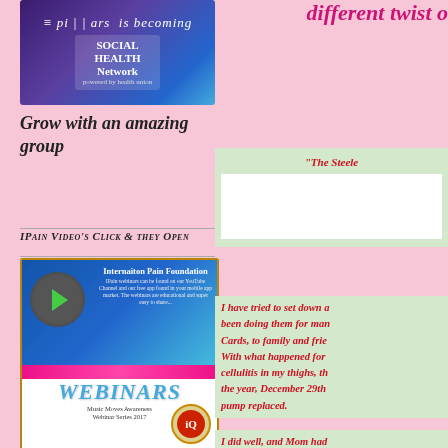[Figure (illustration): ePillars is becoming Social Health Network logo/banner image with purple/blue gradient background]
Grow with an amazing group
IPain Video's Click & they Open
[Figure (illustration): Internation Pain Foundation Webinars promotional image - Music Moves Awareness Webinar Series 2017]
different twist o
“The Steele
I have tried to set down a... been doing them for many... Cards, to family and friends... With what happened for... cellulitis in my thighs, the... the year, December 29th... pump replaced.
I did well, and Mom had